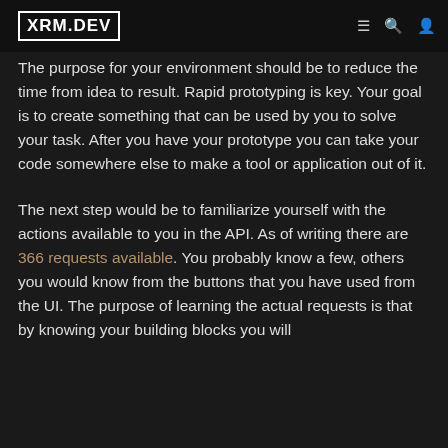XRM.DEV
The purpose for your environment should be to reduce the time from idea to result. Rapid prototyping is key. Your goal is to create something that can be used by you to solve your task. After you have your prototype you can take your code somewhere else to make a tool or application out of it.
The next step would be to familiarize yourself with the actions available to you in the API. As of writing there are 366 requests available. You probably know a few, others you would know from the buttons that you have used from the UI. The purpose of learning the actual requests is that by knowing your building blocks you will